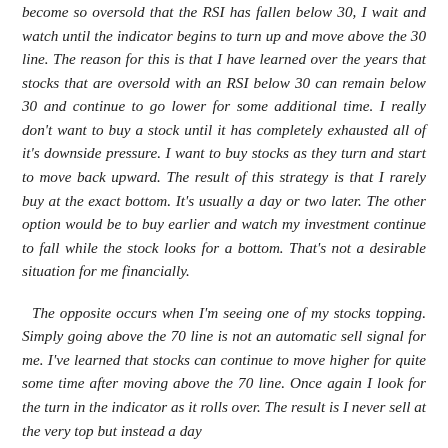become so oversold that the RSI has fallen below 30, I wait and watch until the indicator begins to turn up and move above the 30 line. The reason for this is that I have learned over the years that stocks that are oversold with an RSI below 30 can remain below 30 and continue to go lower for some additional time. I really don't want to buy a stock until it has completely exhausted all of it's downside pressure. I want to buy stocks as they turn and start to move back upward. The result of this strategy is that I rarely buy at the exact bottom. It's usually a day or two later. The other option would be to buy earlier and watch my investment continue to fall while the stock looks for a bottom. That's not a desirable situation for me financially.
The opposite occurs when I'm seeing one of my stocks topping. Simply going above the 70 line is not an automatic sell signal for me. I've learned that stocks can continue to move higher for quite some time after moving above the 70 line. Once again I look for the turn in the indicator as it rolls over. The result is I never sell at the very top but instead a day